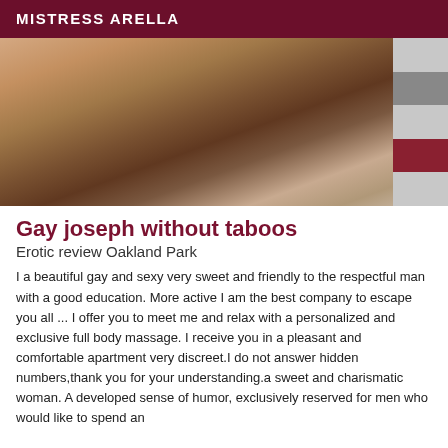MISTRESS ARELLA
[Figure (photo): A man lying down shirtless, photographed from above at an angle, with striped background visible on the right side.]
Gay joseph without taboos
Erotic review Oakland Park
I a beautiful gay and sexy very sweet and friendly to the respectful man with a good education. More active I am the best company to escape you all ... I offer you to meet me and relax with a personalized and exclusive full body massage. I receive you in a pleasant and comfortable apartment very discreet.I do not answer hidden numbers,thank you for your understanding.a sweet and charismatic woman. A developed sense of humor, exclusively reserved for men who would like to spend an